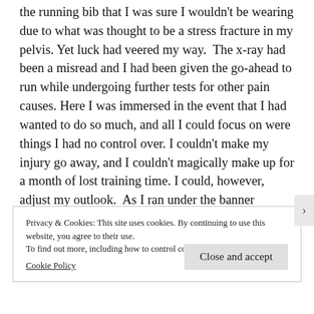the running bib that I was sure I wouldn't be wearing due to what was thought to be a stress fracture in my pelvis. Yet luck had veered my way.  The x-ray had been a misread and I had been given the go-ahead to run while undergoing further tests for other pain causes. Here I was immersed in the event that I had wanted to do so much, and all I could focus on were things I had no control over. I couldn't make my injury go away, and I couldn't magically make up for a month of lost training time. I could, however, adjust my outlook.  As I ran under the banner marking mile two, I flicked an attitude switch in my head from the side that read  I am
Privacy & Cookies: This site uses cookies. By continuing to use this website, you agree to their use.
To find out more, including how to control cookies, see here:
Cookie Policy
Close and accept